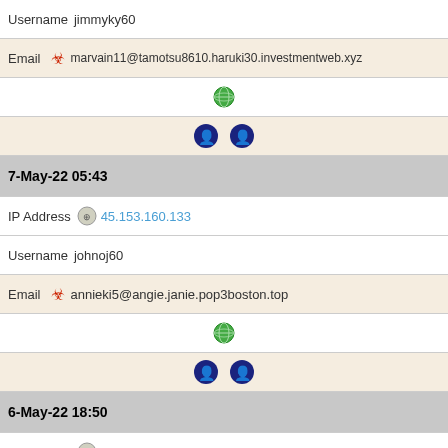Username   jimmyky60
Email  🧪 marvain11@tamotsu8610.haruki30.investmentweb.xyz
[Figure (other): Green globe icon]
[Figure (other): Two dark blue shield/user icons]
7-May-22 05:43
IP Address  45.153.160.133
Username   johnoj60
Email  🧪 annieki5@angie.janie.pop3boston.top
[Figure (other): Green globe icon]
[Figure (other): Two dark blue shield/user icons]
6-May-22 18:50
IP Address  45.153.160.133
Username   cassiecl2
Email  🧪 lydiasf3@masaaki77.funnetwork.xyz
[Figure (other): Green globe icon]
[Figure (other): Two dark blue shield/user icons]
6-May-22 16:17